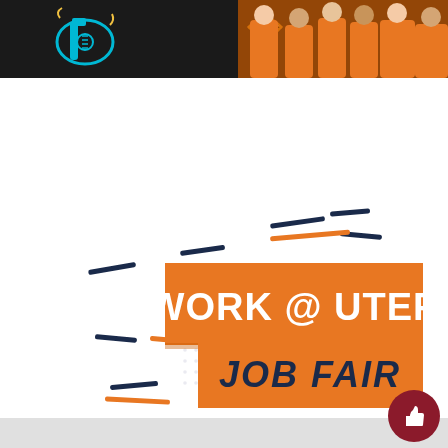[Figure (photo): Top banner with dark background showing guitar icon on left, taco icon in center, and students in orange shirts on right]
[Figure (infographic): Work @ UTEP Job Fair logo with orange background banners, decorative dash lines in navy and orange, and dot pattern background]